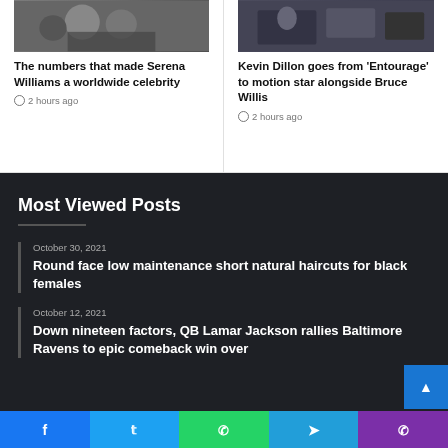[Figure (photo): Two people or figures, appears monochrome/dark]
The numbers that made Serena Williams a worldwide celebrity
2 hours ago
[Figure (photo): Person with bags, dark toned image]
Kevin Dillon goes from ‘Entourage’ to motion star alongside Bruce Willis
2 hours ago
Most Viewed Posts
October 30, 2021
Round face low maintenance short natural haircuts for black females
October 12, 2021
Down nineteen factors, QB Lamar Jackson rallies Baltimore Ravens to epic comeback win over